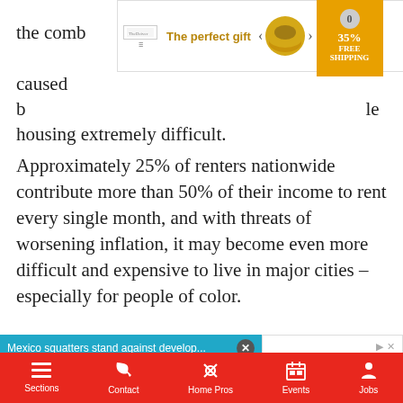the combination of racial strife caused by … making affordable housing extremely difficult.
Approximately 25% of renters nationwide contribute more than 50% of their income to rent every single month, and with threats of worsening inflation, it may become even more difficult and expensive to live in major cities – especially for people of color.
[Figure (screenshot): Advertisement banner: The perfect gift with bowl image, navigation arrows, 35% off FREE SHIPPING badge]
[Figure (screenshot): Video player overlay titled 'Mexico squatters stand against develop...' with close button, mute button, loading arc on black background]
[Figure (screenshot): Side advertisement panel showing 'Small Loans - Meet Your an M&T' text with ad navigation controls]
Sections  Contact  Home Pros  Events  Jobs